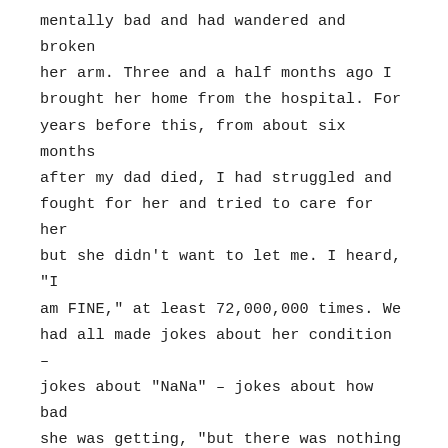mentally bad and had wandered and broken her arm. Three and a half months ago I brought her home from the hospital. For years before this, from about six months after my dad died, I had struggled and fought for her and tried to care for her but she didn't want to let me. I heard, "I am FINE," at least 72,000,000 times. We had all made jokes about her condition – jokes about "NaNa" – jokes about how bad she was getting, "but there was nothing we could do…" Yet, I still fought…and I know those battles, and they're why I'm here tonight.
I wish we hadn't done that…made jokes, because it's not funny. But I'm glad I